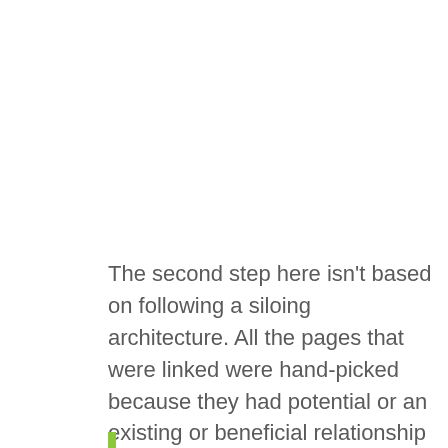The second step here isn't based on following a siloing architecture. All the pages that were linked were hand-picked because they had potential or an existing or beneficial relationship to the pages that were linked.